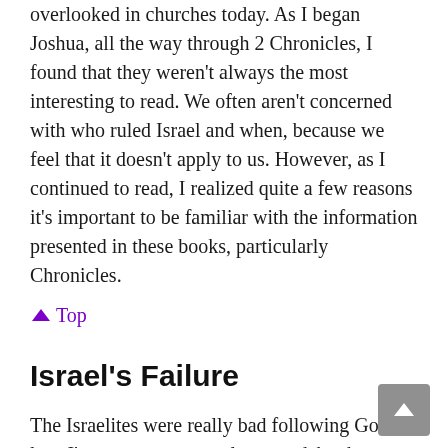overlooked in churches today. As I began Joshua, all the way through 2 Chronicles, I found that they weren't always the most interesting to read. We often aren't concerned with who ruled Israel and when, because we feel that it doesn't apply to us. However, as I continued to read, I realized quite a few reasons it's important to be familiar with the information presented in these books, particularly Chronicles.
↑ Top
Israel's Failure
The Israelites were really bad following God's law. I've seen many people try to debunk Christianity and Judaism by claiming archeological records show that no one practiced Judaism during the times presented in